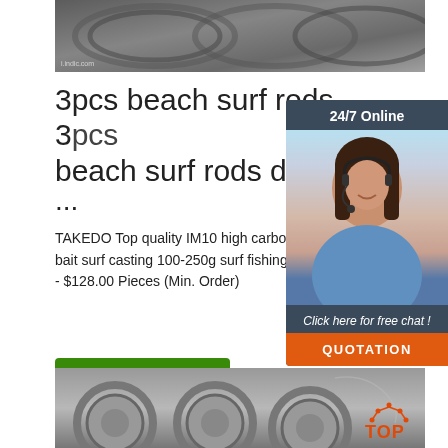[Figure (photo): Photo of coiled steel wire rods stacked outdoors with watermark 'i.indic.com']
3pcs beach surf rods, 3pcs beach surf rods direct f...
...
TAKEDO Top quality IM10 high carbon fi offshore long bait surf casting 100-250g surf fishing 3 sections $78.00 - $128.00 Pieces (Min. Order)
[Figure (infographic): 24/7 Online chat widget with woman wearing headset, 'Click here for free chat!' and orange QUOTATION button]
[Figure (other): Green Get Price button]
[Figure (photo): Photo of large metal pipes/cylinders stacked, with orange TOP logo in bottom right]